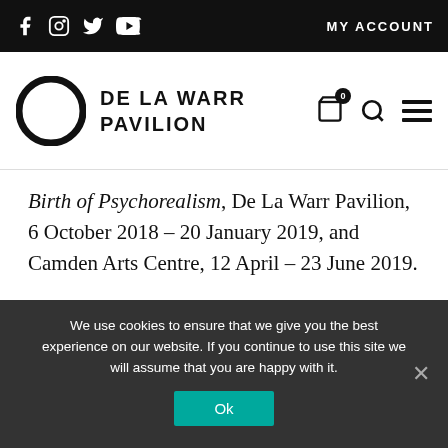MY ACCOUNT
[Figure (logo): De La Warr Pavilion logo with circle and text]
Birth of Psychorealism, De La Warr Pavilion, 6 October 2018 – 20 January 2019, and Camden Arts Centre, 12 April – 23 June 2019.
[Figure (logo): Camden arts centre logo and University logo]
We use cookies to ensure that we give you the best experience on our website. If you continue to use this site we will assume that you are happy with it.